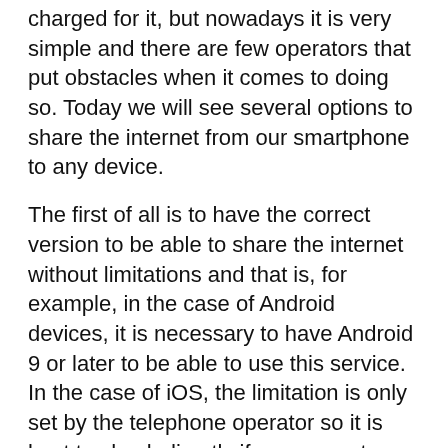charged for it, but nowadays it is very simple and there are few operators that put obstacles when it comes to doing so. Today we will see several options to share the internet from our smartphone to any device.
The first of all is to have the correct version to be able to share the internet without limitations and that is, for example, in the case of Android devices, it is necessary to have Android 9 or later to be able to use this service. In the case of iOS, the limitation is only set by the telephone operator so it is best to check directly if you are not sure you can. That said, we are going to see the steps to share a connection that is also called on Android "shared connection", "use of an access point" and on iOS "personal access point".